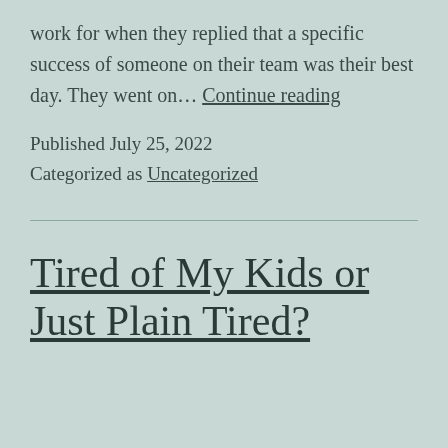work for when they replied that a specific success of someone on their team was their best day. They went on… Continue reading
Published July 25, 2022
Categorized as Uncategorized
Tired of My Kids or Just Plain Tired?